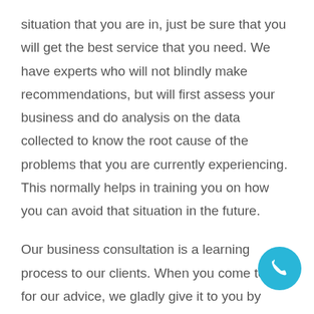situation that you are in, just be sure that you will get the best service that you need. We have experts who will not blindly make recommendations, but will first assess your business and do analysis on the data collected to know the root cause of the problems that you are currently experiencing. This normally helps in training you on how you can avoid that situation in the future.
Our business consultation is a learning process to our clients. When you come to us for our advice, we gladly give it to you by taking you through all the steps that you need to follow to implement it. If it is the problem that we have solved for you, then you will be better